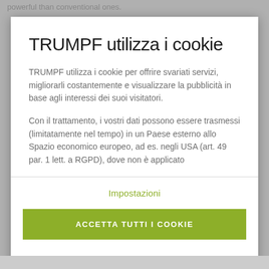powerful than conventional ones.
TRUMPF utilizza i cookie
TRUMPF utilizza i cookie per offrire svariati servizi, migliorarli costantemente e visualizzare la pubblicità in base agli interessi dei suoi visitatori.
Con il trattamento, i vostri dati possono essere trasmessi (limitatamente nel tempo) in un Paese esterno allo Spazio economico europeo, ad es. negli USA (art. 49 par. 1 lett. a RGPD), dove non è applicato
Impostazioni
ACCETTA TUTTI I COOKIE
PROTEZIONE DEI DATI   COLOPHON